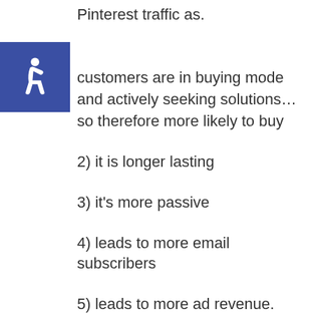Pinterest traffic as.
customers are in buying mode and actively seeking solutions…so therefore more likely to buy
2) it is longer lasting
3) it's more passive
4) leads to more email subscribers
5) leads to more ad revenue. So, it's a win-win-win-win-win!